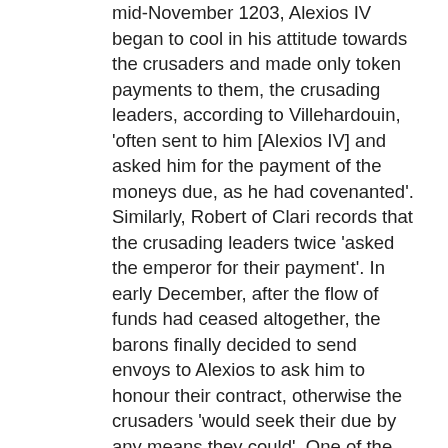mid-November 1203, Alexios IV began to cool in his attitude towards the crusaders and made only token payments to them, the crusading leaders, according to Villehardouin, 'often sent to him [Alexios IV] and asked him for the payment of the moneys due, as he had covenanted'. Similarly, Robert of Clari records that the crusading leaders twice 'asked the emperor for their payment'. In early December, after the flow of funds had ceased altogether, the barons finally decided to send envoys to Alexios to ask him to honour their contract, otherwise the crusaders 'would seek their due by any means they could'. One of the emissaries sent to the imperial palace was Villehardouin. According to his first-hand account, upon admission to the audience chamber, the crusader envoys demanded that the emperor fulfil his commitments to the crusaders. If he failed to do so, the crusaders would 'strive to obtain their due by all the means they could'. The rank- and-file crusaders were not ignorant of this ultimatum. Robert of Clari records that 'all the